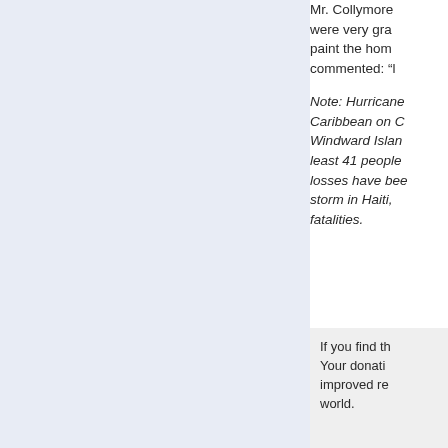Mr. Collymore were very gra paint the hom commented: "
Note: Hurricane Caribbean on C Windward Islan least 41 people losses have bee storm in Haiti, fatalities.
If you find th Your donati improved re world.